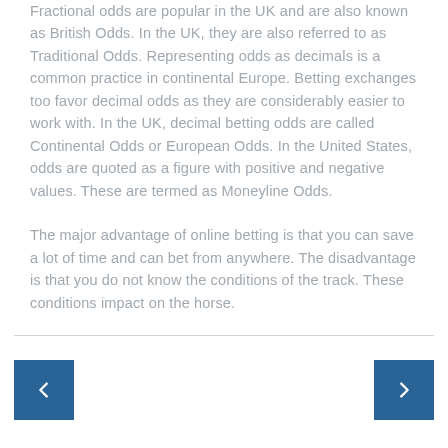Fractional odds are popular in the UK and are also known as British Odds. In the UK, they are also referred to as Traditional Odds. Representing odds as decimals is a common practice in continental Europe. Betting exchanges too favor decimal odds as they are considerably easier to work with. In the UK, decimal betting odds are called Continental Odds or European Odds. In the United States, odds are quoted as a figure with positive and negative values. These are termed as Moneyline Odds.
The major advantage of online betting is that you can save a lot of time and can bet from anywhere. The disadvantage is that you do not know the conditions of the track. These conditions impact on the horse.
navigation previous next